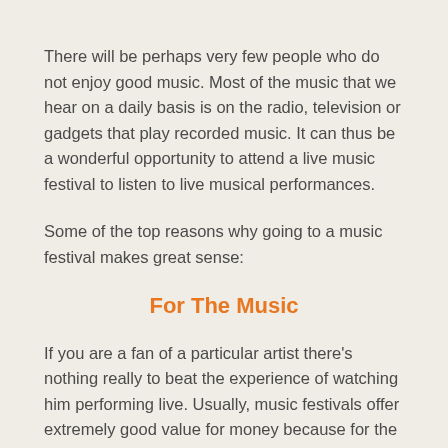There will be perhaps very few people who do not enjoy good music. Most of the music that we hear on a daily basis is on the radio, television or gadgets that play recorded music. It can thus be a wonderful opportunity to attend a live music festival to listen to live musical performances.
Some of the top reasons why going to a music festival makes great sense:
For The Music
If you are a fan of a particular artist there's nothing really to beat the experience of watching him performing live. Usually, music festivals offer extremely good value for money because for the amount you would normally shell out to attend a rock band's performance, you would be